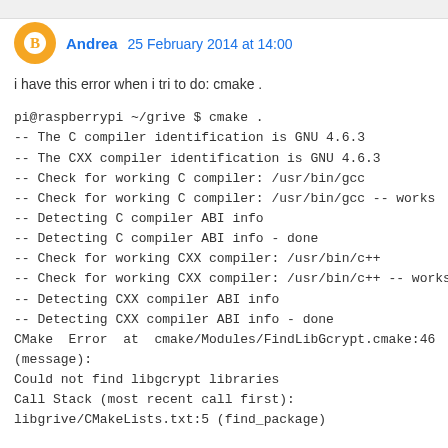Andrea  25 February 2014 at 14:00
i have this error when i tri to do: cmake .
pi@raspberrypi ~/grive $ cmake .
-- The C compiler identification is GNU 4.6.3
-- The CXX compiler identification is GNU 4.6.3
-- Check for working C compiler: /usr/bin/gcc
-- Check for working C compiler: /usr/bin/gcc -- works
-- Detecting C compiler ABI info
-- Detecting C compiler ABI info - done
-- Check for working CXX compiler: /usr/bin/c++
-- Check for working CXX compiler: /usr/bin/c++ -- works
-- Detecting CXX compiler ABI info
-- Detecting CXX compiler ABI info - done
CMake Error at cmake/Modules/FindLibGcrypt.cmake:46
(message):
Could not find libgcrypt libraries
Call Stack (most recent call first):
libgrive/CMakeLists.txt:5 (find_package)